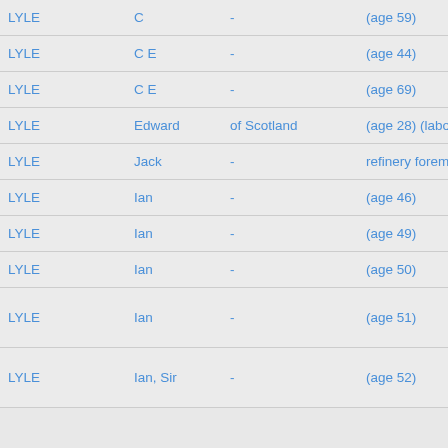| LYLE | C | - | (age 59) |
| LYLE | C E | - | (age 44) |
| LYLE | C E | - | (age 69) |
| LYLE | Edward | of Scotland | (age 28) (labourer) |
| LYLE | Jack | - | refinery foreman |
| LYLE | Ian | - | (age 46) |
| LYLE | Ian | - | (age 49) |
| LYLE | Ian | - | (age 50) |
| LYLE | Ian | - | (age 51) |
| LYLE | Ian, Sir | - | (age 52) |